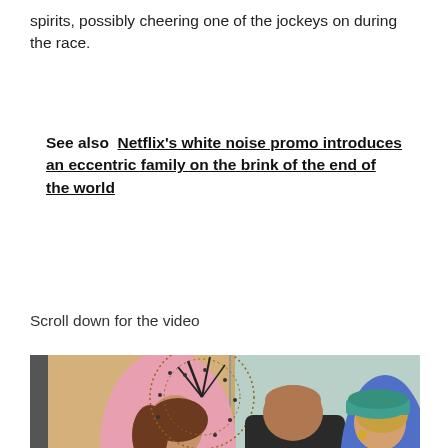spirits, possibly cheering one of the jockeys on during the race.
See also  Netflix's white noise promo introduces an eccentric family on the brink of the end of the world
Scroll down for the video
[Figure (photo): Three people chatting outdoors. A woman in a pink outfit with an elaborate black fascinator hat, a man in a dark suit with his back to camera, and a woman in a blue outfit with a teal hat.]